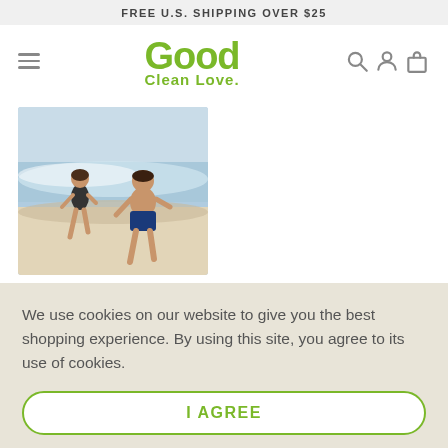FREE U.S. SHIPPING OVER $25
[Figure (logo): Good Clean Love green logo with hamburger menu and search/account/cart icons]
[Figure (photo): A woman in a black bikini and a man in blue swim shorts running on a beach by the ocean waves]
We use cookies on our website to give you the best shopping experience. By using this site, you agree to its use of cookies.
I AGREE